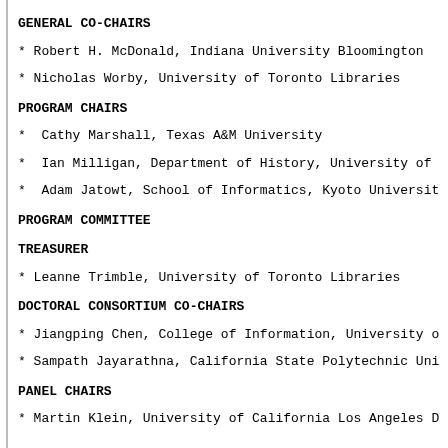GENERAL CO-CHAIRS
* Robert H. McDonald, Indiana University Bloomington
* Nicholas Worby, University of Toronto Libraries
PROGRAM CHAIRS
*  Cathy Marshall, Texas A&M University
*  Ian Milligan, Department of History, University of
*  Adam Jatowt, School of Informatics, Kyoto Universit
PROGRAM COMMITTEE
TREASURER
* Leanne Trimble, University of Toronto Libraries
DOCTORAL CONSORTIUM CO-CHAIRS
* Jiangping Chen, College of Information, University o
* Sampath Jayarathna, California State Polytechnic Uni
PANEL CHAIRS
* Martin Klein, University of California Los Angeles D